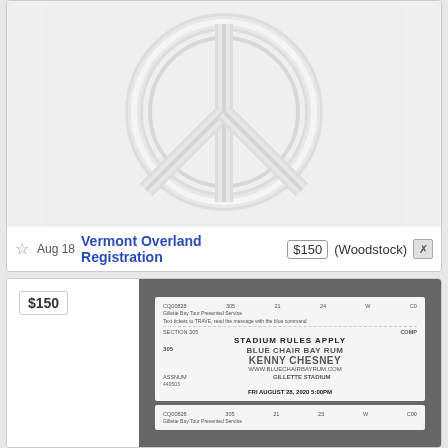[Figure (illustration): Peace sign embossed/debossed image in light gray tones on white/light gray background]
☆ Aug 18  Vermont Overland Registration  $150  (Woodstock)  [x]
$150
[Figure (photo): Photo of event tickets for Kenny Chesney at Gillette Stadium, Fri August 28, 2020 5:00PM. Blue Chair Bay Rum sponsorship. Section 305, Row 21, Seat 24.]